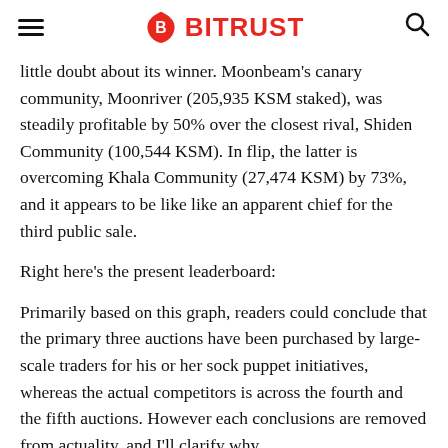BITRUST
little doubt about its winner. Moonbeam's canary community, Moonriver (205,935 KSM staked), was steadily profitable by 50% over the closest rival, Shiden Community (100,544 KSM). In flip, the latter is overcoming Khala Community (27,474 KSM) by 73%, and it appears to be like like an apparent chief for the third public sale.
Right here's the present leaderboard:
Primarily based on this graph, readers could conclude that the primary three auctions have been purchased by large-scale traders for his or her sock puppet initiatives, whereas the actual competitors is across the fourth and the fifth auctions. However each conclusions are removed from actuality, and I'll clarify why.